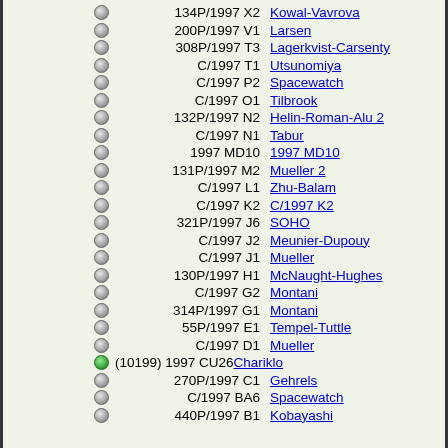134P/1997 X2 - Kowal-Vavrova
200P/1997 V1 - Larsen
308P/1997 T3 - Lagerkvist-Carsenty
C/1997 T1 - Utsunomiya
C/1997 P2 - Spacewatch
C/1997 O1 - Tilbrook
132P/1997 N2 - Helin-Roman-Alu 2
C/1997 N1 - Tabur
1997 MD10 - 1997 MD10
131P/1997 M2 - Mueller 2
C/1997 L1 - Zhu-Balam
C/1997 K2 - C/1997 K2
321P/1997 J6 - SOHO
C/1997 J2 - Meunier-Dupouy
C/1997 J1 - Mueller
130P/1997 H1 - McNaught-Hughes
C/1997 G2 - Montani
314P/1997 G1 - Montani
55P/1997 E1 - Tempel-Tuttle
C/1997 D1 - Mueller
(10199) 1997 CU26 - Chariklo
270P/1997 C1 - Gehrels
C/1997 BA6 - Spacewatch
440P/1997 B1 - Kobayashi